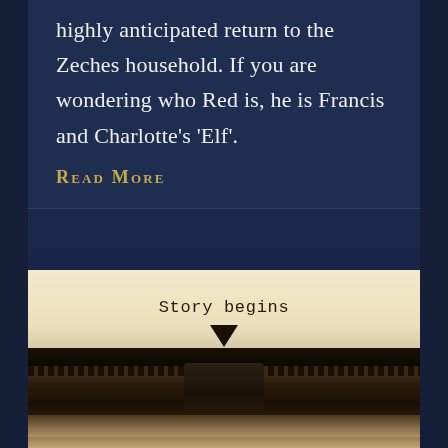highly anticipated return to the Zeches household. If you are wondering who Red is, he is Francis and Charlotte's ‘Elf’.
Read More
[Figure (photo): Close-up photograph of a vintage typewriter with a sheet of paper inserted showing the text 'Story begins' typed on it in Courier-style typeface. The carriage mechanism and typewriter keys are visible below.]